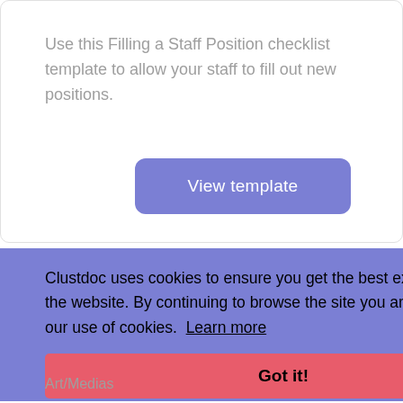Use this Filling a Staff Position checklist template to allow your staff to fill out new positions.
[Figure (other): A purple/blue rounded button labeled 'View template']
Clustdoc uses cookies to ensure you get the best experience on the website. By continuing to browse the site you are agreeing to our use of cookies.  Learn more
[Figure (other): A red/coral rounded button labeled 'Got it!']
[Figure (photo): Partial view of a laptop/device on the right side, clipped]
Art/Medias